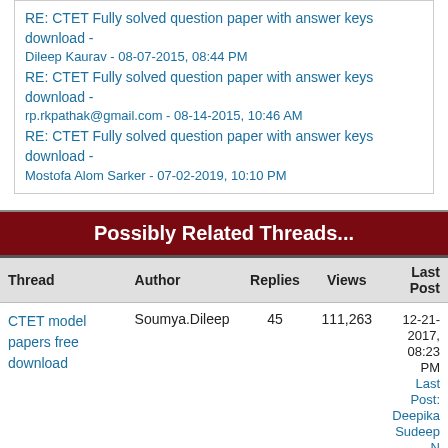RE: CTET Fully solved question paper with answer keys download - Dileep Kaurav - 08-07-2015, 08:44 PM
RE: CTET Fully solved question paper with answer keys download - rp.rkpathak@gmail.com - 08-14-2015, 10:46 AM
RE: CTET Fully solved question paper with answer keys download - Mostofa Alom Sarker - 07-02-2019, 10:10 PM
Possibly Related Threads...
| Thread | Author | Replies | Views | Last Post |
| --- | --- | --- | --- | --- |
| CTET model papers free download | Soumya.Dileep | 45 | 111,263 | 12-21-2017, 08:23 PM
Last Post: Deepika Sudeep N |
| SSC Graduate level exam model question papers fully | abhilash | 28 | 185,472 | 05-17-2017, 08:08 AM
Last Post: usb |